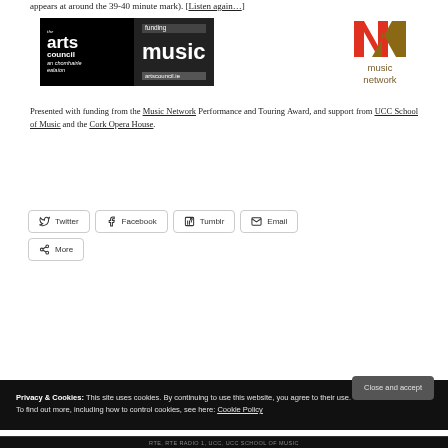appears at around the 39-40 minute mark). [Listen again…]
[Figure (logo): Arts Council artscouncil.ie funding music logo (black and dark background)]
[Figure (logo): Music Network logo with orange-red M and brown N lettermark, text 'music network']
Presented with funding from the Music Network Performance and Touring Award, and support from UCC School of Music and the Cork Opera House.
Twitter
Facebook
Tumblr
Email
More
Privacy & Cookies: This site uses cookies. By continuing to use this website, you agree to their use. To find out more, including how to control cookies, see here: Cookie Policy
RTE, RTE RADIO 1, UCC, UCC SCHOOL OF MUSIC